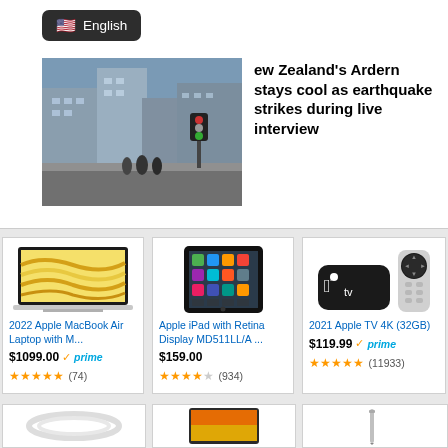[Figure (screenshot): Language selector badge showing US flag emoji and 'English' text in dark rounded badge]
[Figure (photo): Street scene photo showing city buildings and traffic signals]
New Zealand's Ardern stays cool as earthquake strikes during live interview
[Figure (photo): Product image of 2022 Apple MacBook Air Laptop]
2022 Apple MacBook Air Laptop with M...
$1099.00 ✓prime (74) ★★★★★
[Figure (photo): Product image of Apple iPad with Retina Display MD511LL/A]
Apple iPad with Retina Display MD511LL/A ...
$159.00 (934) ★★★★☆
[Figure (photo): Product image of 2021 Apple TV 4K (32GB) with remote]
2021 Apple TV 4K (32GB)
$119.99 ✓prime (11933) ★★★★★
[Figure (photo): Partial product image at bottom left - white cable/cord]
[Figure (photo): Partial product image at bottom center - Apple iPad 9th generation]
[Figure (photo): Partial product image at bottom right - stylus or cable]